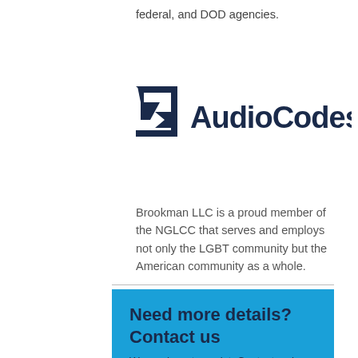federal, and DOD agencies.
[Figure (logo): AudioCodes logo with stylized geometric mark in navy blue and the text 'AudioCodes' in navy blue]
Brookman LLC is a proud member of the NGLCC that serves and employs not only the LGBT community but the American community as a whole.
Need more details? Contact us
We are here to assist. Contact us by